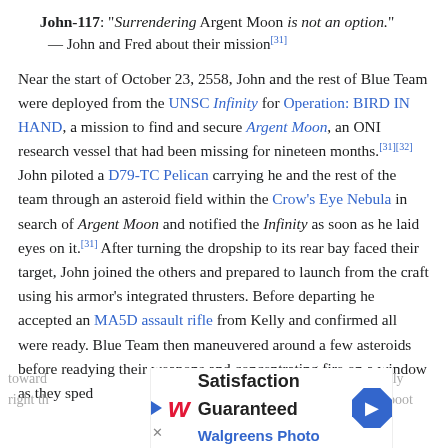John-117: "Surrendering Argent Moon is not an option." — John and Fred about their mission[31]
Near the start of October 23, 2558, John and the rest of Blue Team were deployed from the UNSC Infinity for Operation: BIRD IN HAND, a mission to find and secure Argent Moon, an ONI research vessel that had been missing for nineteen months.[31][32] John piloted a D79-TC Pelican carrying he and the rest of the team through an asteroid field within the Crow's Eye Nebula in search of Argent Moon and notified the Infinity as soon as he laid eyes on it.[31] After turning the dropship to its rear bay faced their target, John joined the others and prepared to launch from the craft using his armor's integrated thrusters. Before departing he accepted an MA5D assault rifle from Kelly and confirmed all were ready. Blue Team then maneuvered around a few asteroids before readying their weapons and concentrating fire on a window as they sped toward... fly right th... boot
[Figure (other): Walgreens Photo advertisement banner with 'Satisfaction Guaranteed' text, Walgreens logo, and navigation arrow icon. Partially overlaid on article text.]